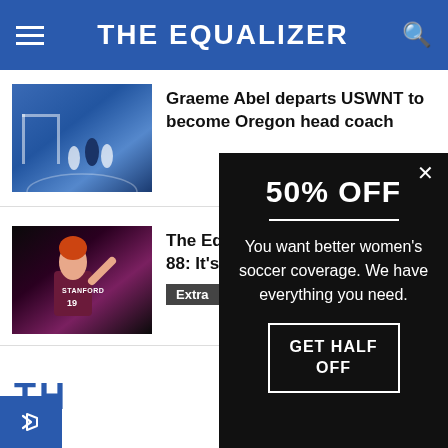THE EQUALIZER
[Figure (photo): Soccer players on a field with blue stadium background]
Graeme Abel departs USWNT to become Oregon head coach
[Figure (photo): Stanford women's soccer player #19 in maroon uniform]
The Equalizer Podcast, Episode 88: It's Stanford's Year
Extra
50% OFF
You want better women's soccer coverage. We have everything you need.
GET HALF OFF
TH